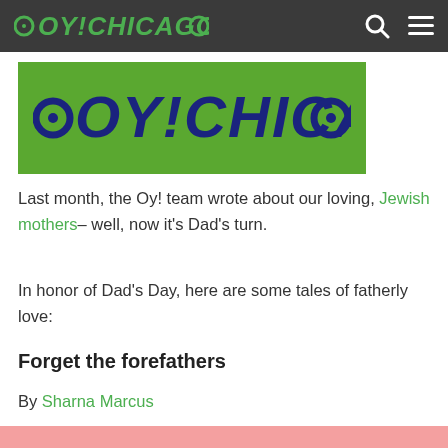OY!CHICAGO
[Figure (logo): OY!CHICAGO logo in dark blue bold italic text on a green background banner]
Last month, the Oy! team wrote about our loving, Jewish mothers– well, now it’s Dad’s turn.
In honor of Dad’s Day, here are some tales of fatherly love:
Forget the forefathers
By Sharna Marcus